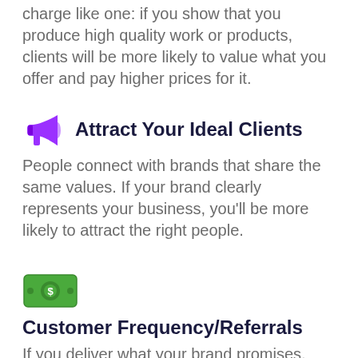charge like one: if you show that you produce high quality work or products, clients will be more likely to value what you offer and pay higher prices for it.
Attract Your Ideal Clients
People connect with brands that share the same values. If your brand clearly represents your business, you'll be more likely to attract the right people.
[Figure (illustration): Green money/cash icon with a dollar sign circle in the center]
Customer Frequency/Referrals
If you deliver what your brand promises, your customers will remember you. Your clients and audience can be the best form of marketing. If they...